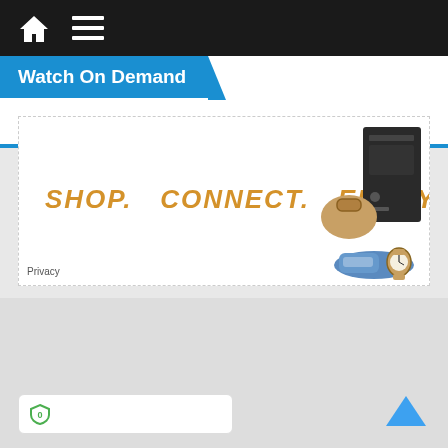[Figure (screenshot): Mobile app navigation bar with home icon and hamburger menu on dark background]
Watch On Demand
[Figure (infographic): Advertisement banner with text SHOP. CONNECT. ENJOY. in orange with product images (bag, shoes, watch, gaming console) on the right. Privacy link at bottom left.]
[Figure (screenshot): Gray empty content area below advertisement]
[Figure (infographic): Back to top chevron button (blue up-arrow) in bottom right]
[Figure (infographic): Privacy badge / shield icon button in bottom left, white rounded rectangle]